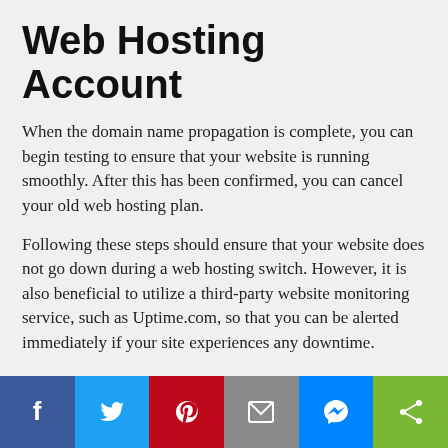Web Hosting Account
When the domain name propagation is complete, you can begin testing to ensure that your website is running smoothly. After this has been confirmed, you can cancel your old web hosting plan.
Following these steps should ensure that your website does not go down during a web hosting switch. However, it is also beneficial to utilize a third-party website monitoring service, such as Uptime.com, so that you can be alerted immediately if your site experiences any downtime.
Minute-by-minute Uptime checks.
Start your 21-day free trial with no credit card required at Uptime.com.
[Figure (infographic): Social media share buttons bar: Facebook (blue), Twitter (light blue), Pinterest (red), Email (grey), Messenger (blue), Share (green)]